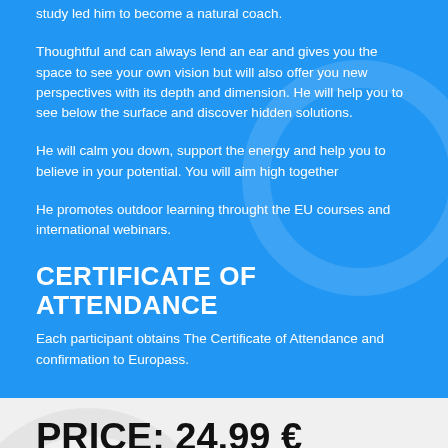study led him to become a natural coach.
Thoughtful and can always lend an ear and gives you the space to see your own vision but will also offer you new perspectives with its depth and dimension. He will help you to see below the surface and discover hidden solutions.
He will calm you down, support the energy and help you to believe in your potential. You will aim high together
He promotes outdoor learning throught the EU courses and international webinars.
CERTIFICATE OF ATTENDANCE
Each participant obtains The Certificate of Attendance and confirmation to Europass.
PRICE: 24,99 € (EUR)
equals 30 $ (USD)